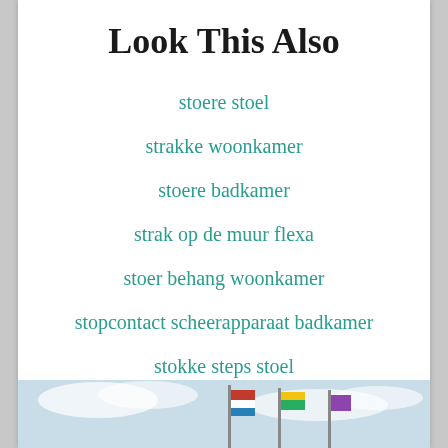Look This Also
stoere stoel
strakke woonkamer
stoere badkamer
strak op de muur flexa
stoer behang woonkamer
stopcontact scheerapparaat badkamer
stokke steps stoel
[Figure (photo): Photo of flags against a cloudy sky, partially visible at the bottom of the page]